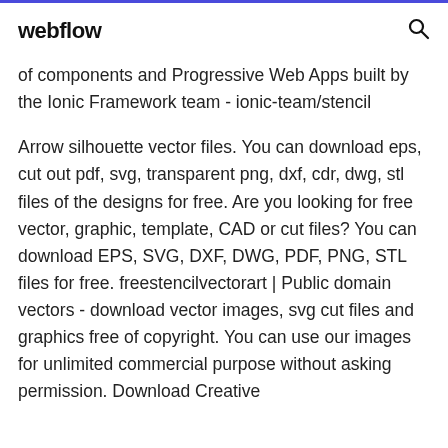webflow
of components and Progressive Web Apps built by the Ionic Framework team - ionic-team/stencil
Arrow silhouette vector files. You can download eps, cut out pdf, svg, transparent png, dxf, cdr, dwg, stl files of the designs for free. Are you looking for free vector, graphic, template, CAD or cut files? You can download EPS, SVG, DXF, DWG, PDF, PNG, STL files for free. freestencilvectorart | Public domain vectors - download vector images, svg cut files and graphics free of copyright. You can use our images for unlimited commercial purpose without asking permission. Download Creative